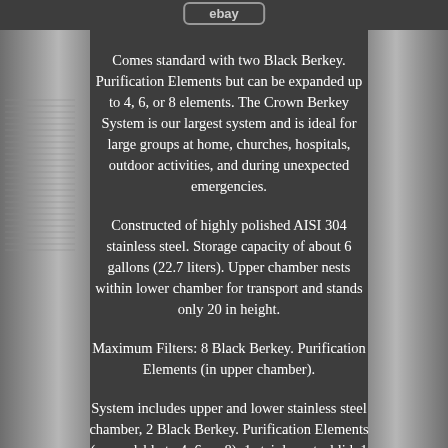ebay
Comes standard with two Black Berkey. Purification Elements but can be expanded up to 4, 6, or 8 elements. The Crown Berkey System is our largest system and is ideal for large groups at home, churches, hospitals, outdoor activities, and during unexpected emergencies.
Constructed of highly polished AISI 304 stainless steel. Storage capacity of about 6 gallons (22.7 liters). Upper chamber nests within lower chamber for transport and stands only 20 in height.
Maximum Filters: 8 Black Berkey. Purification Elements (in upper chamber).
System includes upper and lower stainless steel chamber, 2 Black Berkey. Purification Elements (expandable to 4, 6, or 8), 1 stainless steel lid, 1 spigot, 2 wingnuts, 2 washers, 1 priming button,